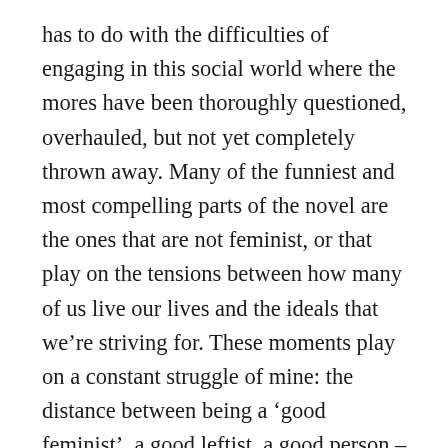has to do with the difficulties of engaging in this social world where the mores have been thoroughly questioned, overhauled, but not yet completely thrown away. Many of the funniest and most compelling parts of the novel are the ones that are not feminist, or that play on the tensions between how many of us live our lives and the ideals that we’re striving for. These moments play on a constant struggle of mine: the distance between being a ‘good feminist’, a good leftist, a good person – adhering to my beliefs to the utmost – and what I actually do in my life. By fully airing her messy, idiosyncratic voice, Heti offers insights not always seen in contemporary feminist literature.  The text itself is not feminist, it’s a piece of art. But like any other art work, we can examine certain